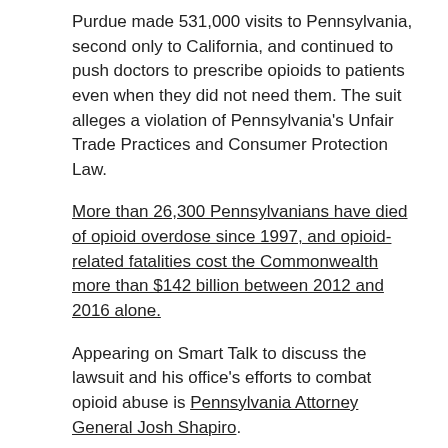Purdue made 531,000 visits to Pennsylvania, second only to California, and continued to push doctors to prescribe opioids to patients even when they did not need them. The suit alleges a violation of Pennsylvania's Unfair Trade Practices and Consumer Protection Law.
More than 26,300 Pennsylvanians have died of opioid overdose since 1997, and opioid-related fatalities cost the Commonwealth more than $142 billion between 2012 and 2016 alone.
Appearing on Smart Talk to discuss the lawsuit and his office's efforts to combat opioid abuse is Pennsylvania Attorney General Josh Shapiro.
[Figure (other): Broken image placeholder for Untitled design - 2019-05-22T100716.430.png]
Linda Earhart and Sandra Schreffler